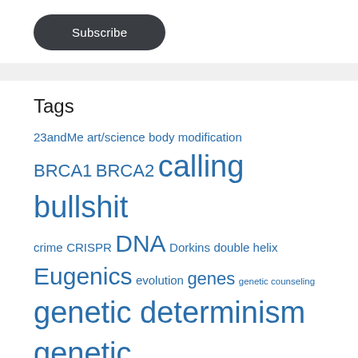[Figure (other): Subscribe button — dark rounded pill button with white text]
Tags
23andMe art/science body modification BRCA1 BRCA2 calling bullshit crime CRISPR DNA Dorkins double helix Eugenics evolution genes genetic counseling genetic determinism genetic diagnosis genetics genetic testing genomics